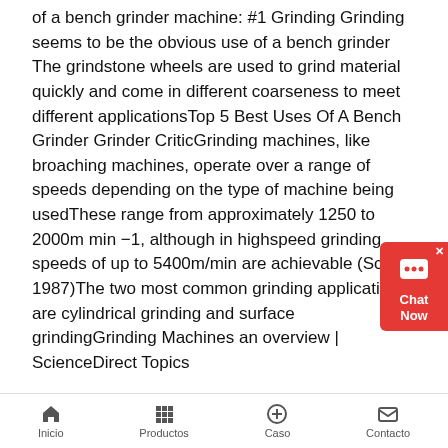of a bench grinder machine: #1 Grinding Grinding seems to be the obvious use of a bench grinder The grindstone wheels are used to grind material quickly and come in different coarseness to meet different applicationsTop 5 Best Uses Of A Bench Grinder Grinder CriticGrinding machines, like broaching machines, operate over a range of speeds depending on the type of machine being usedThese range from approximately 1250 to 2000m min −1, although in highspeed grinding speeds of up to 5400m/min are achievable (Schey, 1987)The two most common grinding applications are cylindrical grinding and surface grindingGrinding Machines an overview | ScienceDirect Topics
[Figure (photo): Industrial grinding machine in a factory setting with large cylindrical grinding equipment and red accent rings]
How a Surface Grinder Machine
A surface
Inicio   Productos   Caso   Contacto